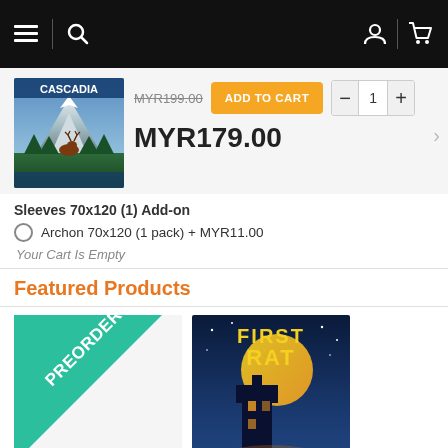Navigation bar with menu, search, user account, and cart icons
[Figure (screenshot): Cascadia board game product image thumbnail]
MYR199.00 (strikethrough original price)
ADD TO CART button
Quantity controls: minus, 1, plus
MYR179.00
Sleeves 70x120 (1) Add-on
Archon 70x120 (1 pack) + MYR11.00
Your Cart Is Empty
Featured Products
[Figure (photo): Preorder badge (teal triangle) for a board game product]
[Figure (photo): First Rat board game product cover image]
Scroll to Top